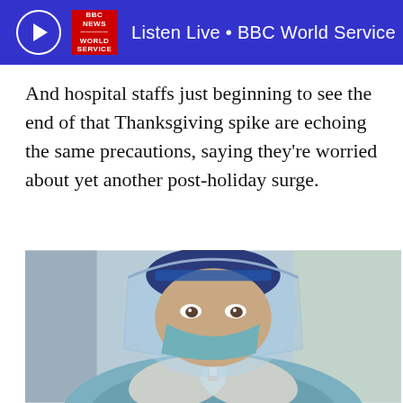Listen Live • BBC World Service
And hospital staffs just beginning to see the end of that Thanksgiving spike are echoing the same precautions, saying they're worried about yet another post-holiday surge.
[Figure (photo): A healthcare worker wearing a blue face shield, surgical mask, and protective gloves holding a syringe up close, preparing a vaccine or medical injection]